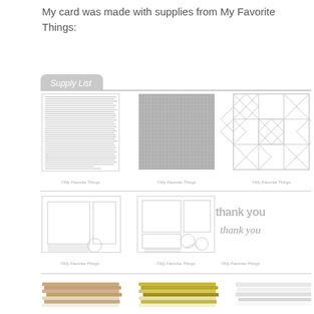My card was made with supplies from My Favorite Things:
[Figure (other): Supply List banner with cursive text and gray horizontal rule]
[Figure (other): Row of three product images: stamp set with text, gray textured background paper, and quilt pattern die]
[Figure (other): Row of three product images: card layout die set, card layout with circles die, and 'thank you thank you' word die]
[Figure (other): Row of three product images: kraft cardstock stack, gold/yellow cardstock stack, white cardstock/paper]